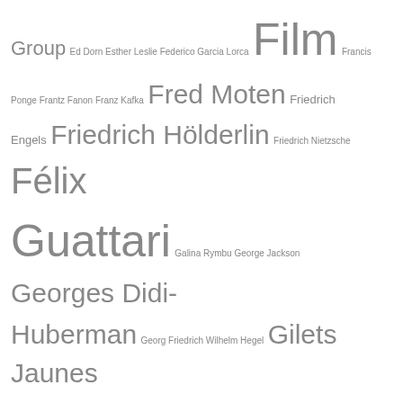Group Ed Dorn Esther Leslie Federico Garcia Lorca Film Francis Ponge Frantz Fanon Franz Kafka Fred Moten Friedrich Engels Friedrich Hölderlin Friedrich Nietzsche Félix Guattari Galina Rymbu George Jackson Georges Didi-Huberman Georg Friedrich Wilhelm Hegel Gilets Jaunes Gilles Deleuze Giorgio Agamben Guy Debord Harun Farocki Heiner Müller Jacques Derrida Jacques Rancière Jean-Luc Godard Jean-Marie Gleize Jean-Marie Straub / Danièle Huillet Jean-Pierre Gorin Jean Genet Jerome Rothenberg José Revueltas Juan Gelman Juliana Spahr Karen Brodine Karl Marx Katerina Gogou